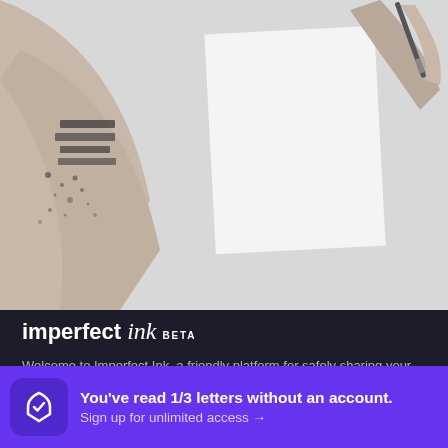[Figure (photo): Black and white photo of hands writing on paper with a pen, and a tattooed arm visible on the left side]
imperfect ink BETA
Welcome to Imperfect Ink, a friendly platform for safely sharing your hidden thoughts and experiences in the form of an anonymous letter.
Follow us
You've read 1/3 letters without an account. Sign up for unlimited access →